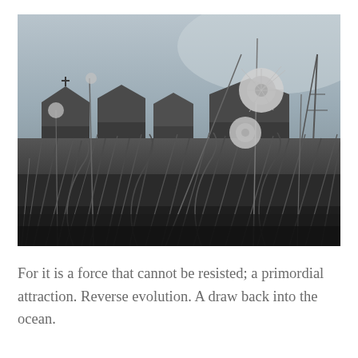[Figure (photo): Black and white close-up photograph taken from ground level looking up through tall grass and dandelion stalks, with dandelion seed heads visible against the sky. Church or stone buildings with peaked roofs visible in the background.]
For it is a force that cannot be resisted; a primordial attraction. Reverse evolution. A draw back into the ocean.